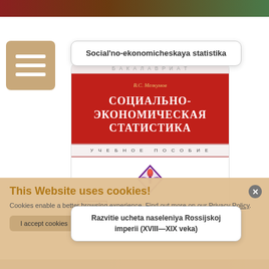[Figure (screenshot): Website screenshot showing a Russian textbook 'Social'no-ekonomicheskaya statistika' (Socially-Economic Statistics) by V.S. Melkumov, with price 36,00 € and cookie consent banner]
Social'no-ekonomicheskaya statistika
В.С. Мелкумов
СОЦИАЛЬНО-ЭКОНОМИЧЕСКАЯ СТАТИСТИКА
УЧЕБНОЕ ПОСОБИЕ
36,00 €
This Website uses cookies!
Cookies enable a better browsing experience. Find out more on our Privacy Policy.
I accept cookies
Razvitie ucheta naseleniya Rossijskoj imperii (XVIII—XIX veka)